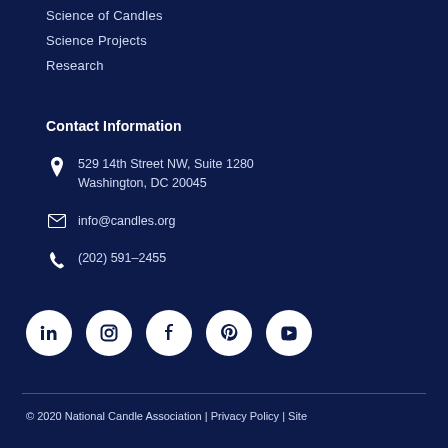Science of Candles
Science Projects
Research
Contact Information
529 14th Street NW, Suite 1280
Washington, DC 20045
info@candles.org
(202) 591-2455
[Figure (other): Social media icons row: LinkedIn, Instagram, Facebook, Pinterest, YouTube — white icons in white circles on dark navy background]
© 2020 National Candle Association | Privacy Policy | Site